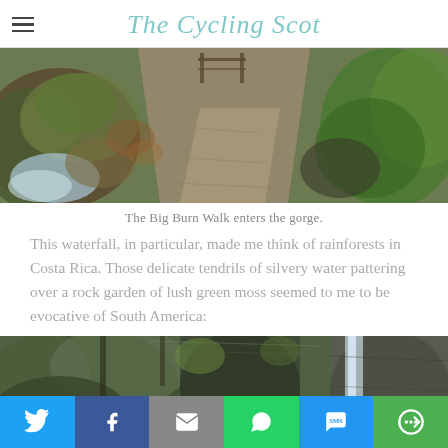The Cycling Scot
[Figure (photo): A gravel path entering a gorge surrounded by mossy rocks and lush green vegetation, with a stream visible on the left side.]
The Big Burn Walk enters the gorge.
This waterfall, in particular, made me think of rainforests in Costa Rica. Those delicate tendrils of silvery water pattering over a rock garden of lush green moss seemed to me to be evocative of South America:
[Figure (photo): A forested gorge scene with dense green vegetation and a waterfall visible on the right side of the image.]